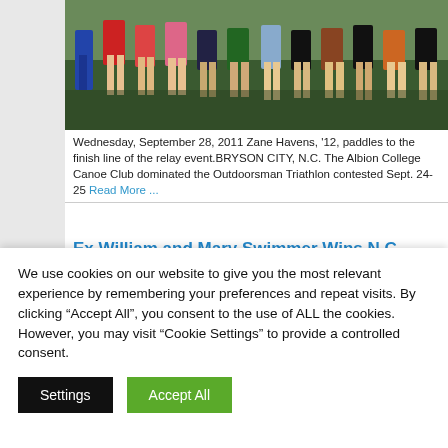[Figure (photo): Partial photo showing legs of a group of people standing outdoors on grass, cropped at the top]
Wednesday, September 28, 2011 Zane Havens, '12, paddles to the finish line of the relay event.BRYSON CITY, N.C. The Albion College Canoe Club dominated the Outdoorsman Triathlon contested Sept. 24-25 Read More ...
Ex William and Mary Swimmer Wins N.C. Triathlon
[Figure (other): Light blue gradient bar]
We use cookies on our website to give you the most relevant experience by remembering your preferences and repeat visits. By clicking “Accept All”, you consent to the use of ALL the cookies. However, you may visit "Cookie Settings" to provide a controlled consent.